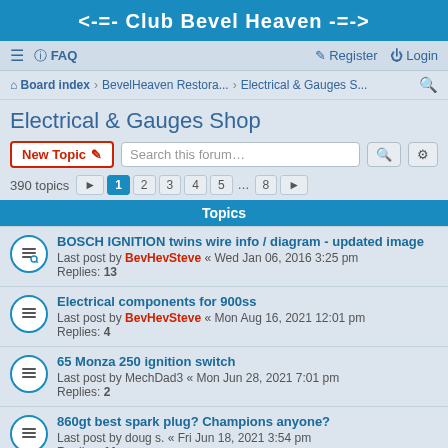<-=- Club Bevel Heaven -=->
≡  FAQ    Register  Login
Board index · BevelHeaven Restora... · Electrical & Gauges S...
Electrical & Gauges Shop
New Topic  Search this forum…
390 topics  1 2 3 4 5 … 8 >
Topics
BOSCH IGNITION twins wire info / diagram - updated image
Last post by BevHevSteve « Wed Jan 06, 2016 3:25 pm
Replies: 13
Electrical components for 900ss
Last post by BevHevSteve « Mon Aug 16, 2021 12:01 pm
Replies: 4
65 Monza 250 ignition switch
Last post by MechDad3 « Mon Jun 28, 2021 7:01 pm
Replies: 2
860gt best spark plug? Champions anyone?
Last post by doug s. « Fri Jun 18, 2021 3:54 pm
Replies: 11